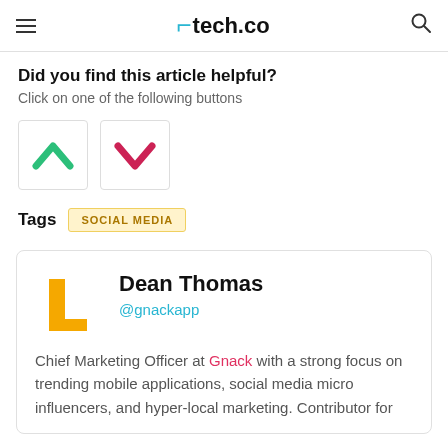tech.co
Did you find this article helpful?
Click on one of the following buttons
[Figure (other): Two voting buttons: green upvote chevron and pink/red downvote chevron]
Tags   SOCIAL MEDIA
Dean Thomas
@gnackapp
Chief Marketing Officer at Gnack with a strong focus on trending mobile applications, social media micro influencers, and hyper-local marketing. Contributor for